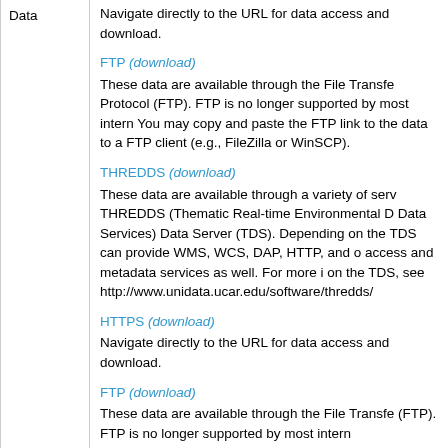|  | Content |
| --- | --- |
| Data | Navigate directly to the URL for data access and download.

FTP (download)
These data are available through the File Transfer Protocol (FTP). FTP is no longer supported by most internet browsers. You may copy and paste the FTP link to the data to a FTP client (e.g., FileZilla or WinSCP).

THREDDS (download)
These data are available through a variety of services via THREDDS (Thematic Real-time Environmental D... Data Services) Data Server (TDS). Depending on the TDS can provide WMS, WCS, DAP, HTTP, and other access and metadata services as well. For more i... on the TDS, see http://www.unidata.ucar.edu/software/thredds/...

HTTPS (download)
Navigate directly to the URL for data access and download.

FTP (download)
These data are available through the File Transfer... (FTP). FTP is no longer supported by most intern... |